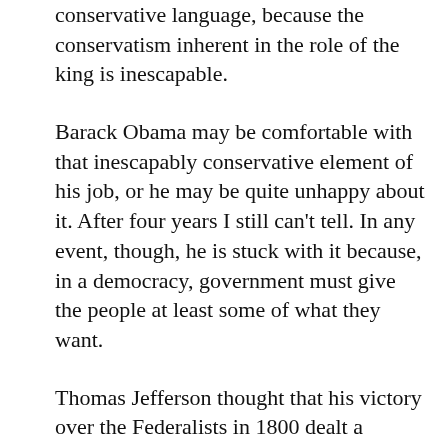conservative language, because the conservatism inherent in the role of the king is inescapable.
Barack Obama may be comfortable with that inescapably conservative element of his job, or he may be quite unhappy about it. After four years I still can’t tell. In any event, though, he is stuck with it because, in a democracy, government must give the people at least some of what they want.
Thomas Jefferson thought that his victory over the Federalists in 1800 dealt a decisive defeat to the desire for monarchy in the United States. He made his inauguration an extremely modest